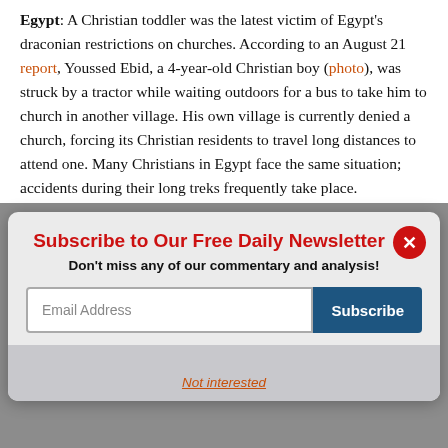Egypt: A Christian toddler was the latest victim of Egypt's draconian restrictions on churches. According to an August 21 report, Youssed Ebid, a 4-year-old Christian boy (photo), was struck by a tractor while waiting outdoors for a bus to take him to church in another village. His own village is currently denied a church, forcing its Christian residents to travel long distances to attend one. Many Christians in Egypt face the same situation; accidents during their long treks frequently take place.
[Figure (screenshot): Newsletter subscription modal popup with red title 'Subscribe to Our Free Daily Newsletter', subtitle 'Don't miss any of our commentary and analysis!', email input field, blue Subscribe button, red close button, and 'Not interested' link.]